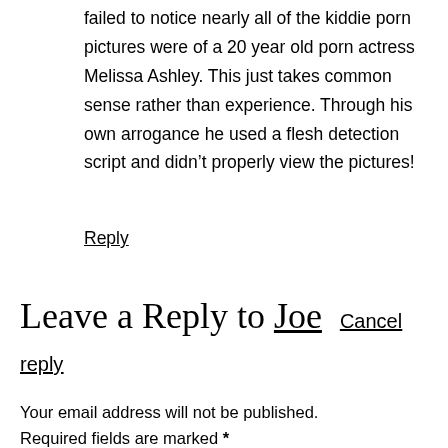failed to notice nearly all of the kiddie porn pictures were of a 20 year old porn actress Melissa Ashley. This just takes common sense rather than experience. Through his own arrogance he used a flesh detection script and didn’t properly view the pictures!
Reply
Leave a Reply to Joe Cancel reply
Your email address will not be published. Required fields are marked *